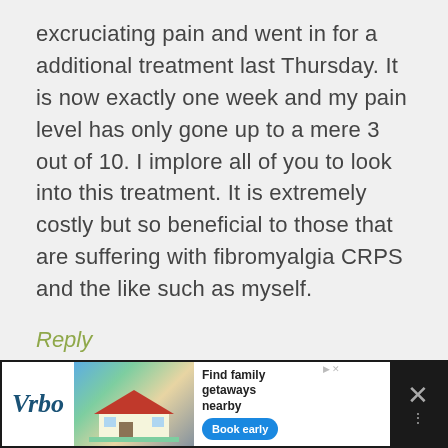excruciating pain and went in for a additional treatment last Thursday. It is now exactly one week and my pain level has only gone up to a mere 3 out of 10. I implore all of you to look into this treatment. It is extremely costly but so beneficial to those that are suffering with fibromyalgia CRPS and the like such as myself.
Reply
[Figure (other): Advertisement banner for Vrbo showing a vacation house photo with text 'Find family getaways nearby' and a 'Book early' button]